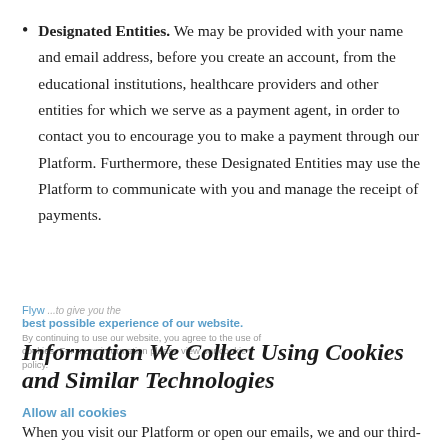Designated Entities. We may be provided with your name and email address, before you create an account, from the educational institutions, healthcare providers and other entities for which we serve as a payment agent, in order to contact you to encourage you to make a payment through our Platform. Furthermore, these Designated Entities may use the Platform to communicate with you and manage the receipt of payments.
Flyw... best possible experience of our website. By continuing to use our website, you agree to the use of cookies. For more information please view our cookie policy.
Information We Collect Using Cookies and Similar Technologies
Allow all cookies
When you visit our Platform or open our emails, we and our third-party service providers may collect